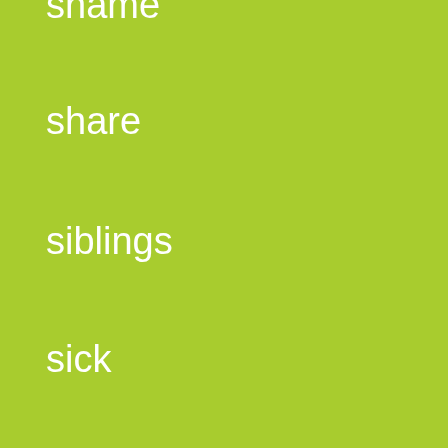shame
share
siblings
sick
sight words
sign language
simple
sin
skills